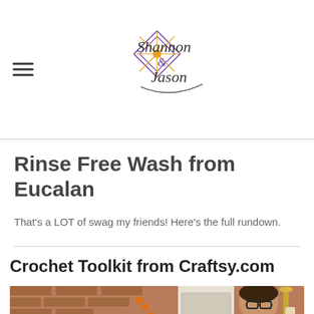Shannon & Jason — logo with navigation hamburger menu
Rinse Free Wash from Eucalan
That's a LOT of swag my friends! Here's the full rundown.
Crochet Toolkit from Craftsy.com
[Figure (photo): A man with glasses and dark hair wearing a burgundy blazer, smiling in front of a brick wall background. On the right side there is a mannequin wearing a purple crocheted garment.]